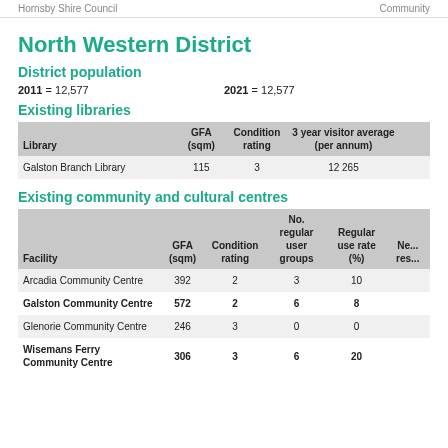Hornsby Shire Council ... Community
North Western District
District population
2011 = 12,577     2021 = 12,577
Existing libraries
| Library | GFA (sqm) | Condition rating | 3 year visitor average (per annum) |
| --- | --- | --- | --- |
| Galston Branch Library | 115 | 3 | 12 265 |
Existing community and cultural centres
| Facility | GFA (sqm) | Condition rating | No. regular user groups | Regular use rate (%) | Ne... res... |
| --- | --- | --- | --- | --- | --- |
| Arcadia Community Centre | 392 | 2 | 3 | 10 |  |
| Galston Community Centre | 572 | 2 | 6 | 8 |  |
| Glenorie Community Centre | 246 | 3 | 0 | 0 |  |
| Wisemans Ferry Community Centre | 306 | 3 | 6 | 20 |  |